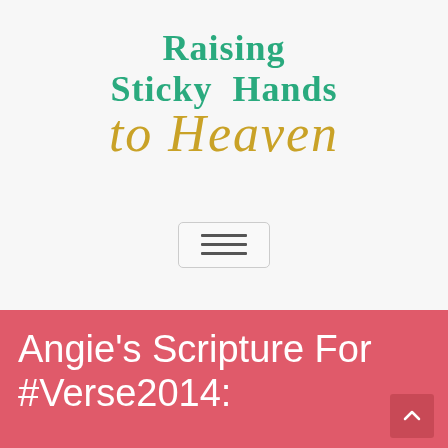[Figure (logo): Blog logo reading 'Raising Sticky Hands to Heaven' in teal serif font for 'Raising Sticky Hands' and gold italic script for 'to Heaven']
[Figure (other): Hamburger menu button with three horizontal bars inside a rounded rectangle border]
Angie's Scripture For #Verse2014: